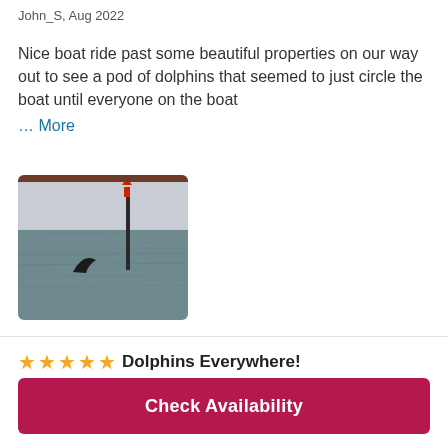John_S, Aug 2022
Nice boat ride past some beautiful properties on our way out to see a pod of dolphins that seemed to just circle the boat until everyone on the boat … More
[Figure (photo): Photo of a dolphin fin visible above water near a channel marker pole with a red top, calm water and overcast sky in the background]
★★★★★ Dolphins Everywhere!
Check Availability